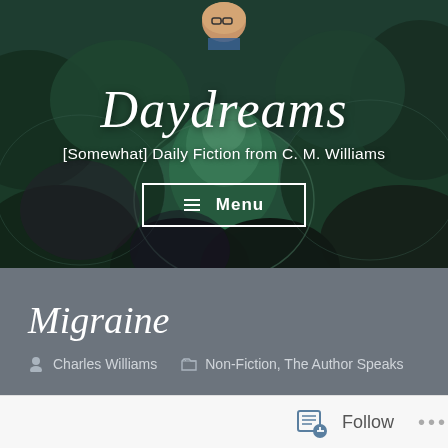[Figure (photo): Hero banner with dark green succulent plant leaves background and a small person's face visible at the top center. Contains blog title 'Daydreams', subtitle '[Somewhat] Daily Fiction from C. M. Williams', and a white-bordered Menu button.]
Daydreams
[Somewhat] Daily Fiction from C. M. Williams
≡ Menu
Migraine
Charles Williams   Non-Fiction, The Author Speaks
[Figure (other): White/light grey bottom bar with Follow button (with notepad/follow icon) and three dots menu on the right side.]